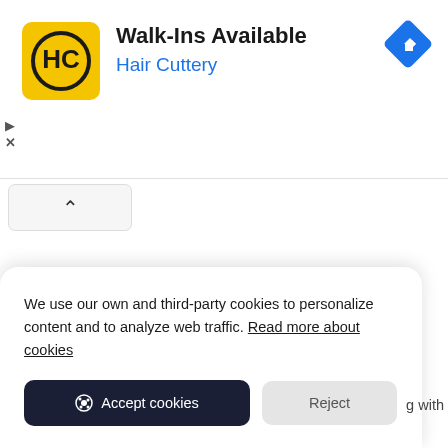[Figure (screenshot): Hair Cuttery ad banner with yellow logo, Walk-Ins Available heading, blue navigation icon]
Walk-Ins Available
Hair Cuttery
[Figure (screenshot): Collapse/chevron up button]
We use our own and third-party cookies to personalize content and to analyze web traffic. Read more about cookies
Accept cookies
Reject
g with